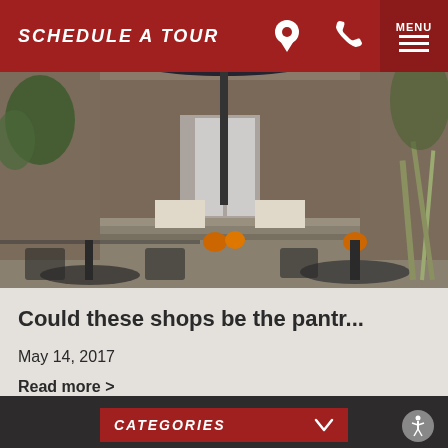SCHEDULE A TOUR
[Figure (photo): Outdoor seating area with iron tables and chairs in front of a brick storefront with signs for MEATS, DELI, and other shops. Pumpkins visible on the steps. Fall foliage and ornamental grasses in the background.]
Could these shops be the pantr...
May 14, 2017
Read more >
CATEGORIES